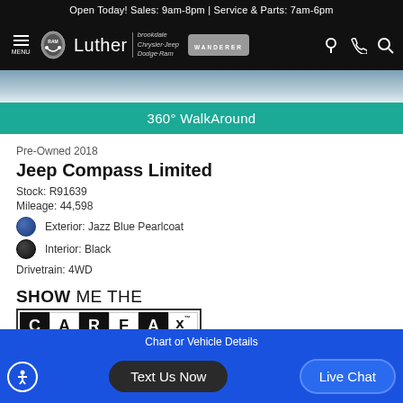Open Today! Sales: 9am-8pm | Service & Parts: 7am-6pm
[Figure (screenshot): Navigation bar with Luther Brookdale Chrysler Jeep Dodge Ram logo, RAM shield, Wanderer badge, and icons]
[Figure (photo): Partial view of vehicle exterior — blue car on pavement]
360° WalkAround
Pre-Owned 2018
Jeep Compass Limited
Stock: R91639
Mileage: 44,598
Exterior: Jazz Blue Pearlcoat
Interior: Black
Drivetrain: 4WD
[Figure (logo): Show Me The CARFAX 1 Owner logo badge]
Luther Fair Value
Text Us Now   Live Chat   Chart or Vehicle Details